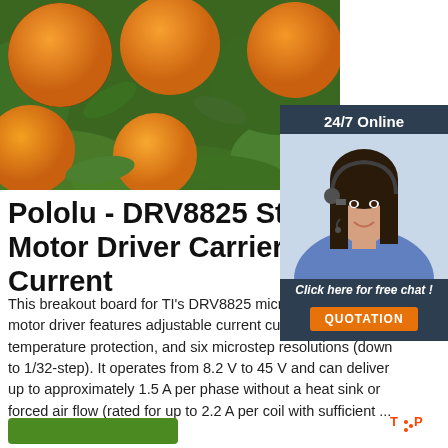[Figure (photo): Close-up photo of ripe oranges on a tree with green leaves in background]
[Figure (photo): 24/7 Online support widget with woman wearing headset, 'Click here for free chat!' text, and orange QUOTATION button on dark navy background]
Pololu - DRV8825 Stepper Motor Driver Carrier, High Current
This breakout board for TI's DRV8825 microstepping stepper motor driver features adjustable current current and over-temperature protection, and six microstep resolutions (down to 1/32-step). It operates from 8.2 V to 45 V and can deliver up to approximately 1.5 A per phase without a heat sink or forced air flow (rated for up to 2.2 A per coil with sufficient ...